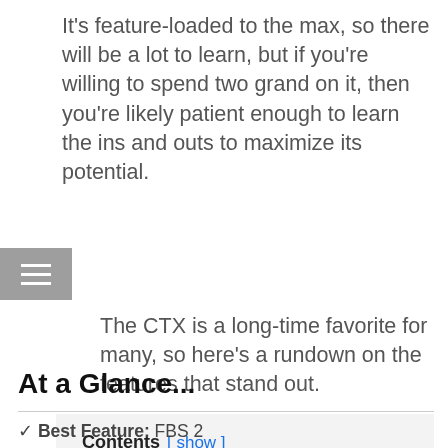It’s feature-loaded to the max, so there will be a lot to learn, but if you’re willing to spend two grand on it, then you’re likely patient enough to learn the ins and outs to maximize its potential.
The CTX is a long-time favorite for many, so here’s a rundown on the features that stand out.
Contents [ show ]
At a Glance...
✓ Best Feature: FBS 2